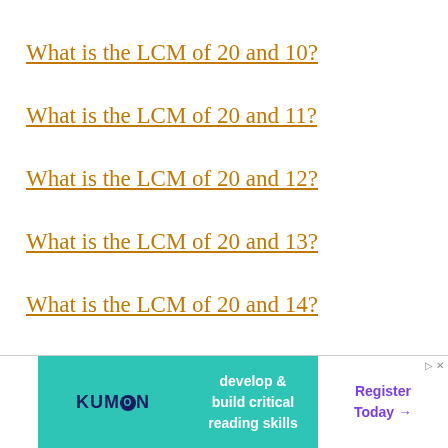What is the LCM of 20 and 10?
What is the LCM of 20 and 11?
What is the LCM of 20 and 12?
What is the LCM of 20 and 13?
What is the LCM of 20 and 14?
What is the LCM of 20 and 15?
What is the LCM of 20 and 16?
Wha...
[Figure (other): Kumon advertisement banner: 'develop & build critical reading skills' with Register Today button]